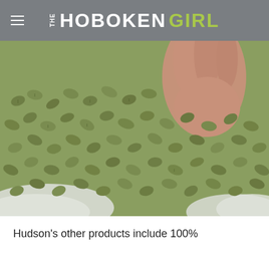THE HOBOKEN GIRL
[Figure (photo): Close-up photo of green unroasted coffee beans with a hand/fingers visible in the upper right corner, and white fabric/bag visible in the lower portion]
Hudson's other products include 100%